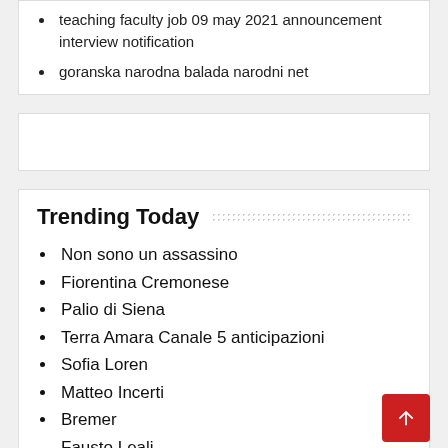teaching faculty job 09 may 2021 announcement interview notification
goranska narodna balada narodni net
Trending Today
Non sono un assassino
Fiorentina Cremonese
Palio di Siena
Terra Amara Canale 5 anticipazioni
Sofia Loren
Matteo Incerti
Bremer
Fausto Leali